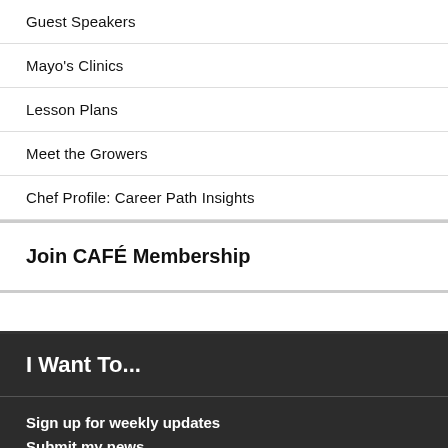Guest Speakers
Mayo's Clinics
Lesson Plans
Meet the Growers
Chef Profile: Career Path Insights
Join CAFÉ Membership
I Want To...
Sign up for weekly updates
Submit my news
Publish job offerings